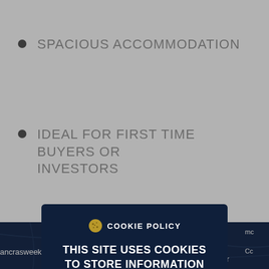SPACIOUS ACCOMMODATION
IDEAL FOR FIRST TIME BUYERS OR INVESTORS
[Figure (screenshot): Cookie policy modal overlay on a real estate website. The modal has a dark navy background and contains: a cookie icon, 'COOKIE POLICY' header, body text 'THIS SITE USES COOKIES TO STORE INFORMATION ON YOUR COMPUTER', a 'READ MORE' link, and a gold 'OK' button. Behind the modal is a map section showing location labels including 'Lana', 'ancrasweek', 'Anvil Corner'.]